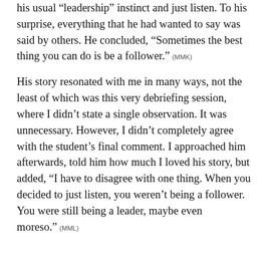his usual “leadership” instinct and just listen. To his surprise, everything that he had wanted to say was said by others. He concluded, “Sometimes the best thing you can do is be a follower.” (MMK)
His story resonated with me in many ways, not the least of which was this very debriefing session, where I didn’t state a single observation. It was unnecessary. However, I didn’t completely agree with the student’s final comment. I approached him afterwards, told him how much I loved his story, but added, “I have to disagree with one thing. When you decided to just listen, you weren’t being a follower. You were still being a leader, maybe even moreso.” (MML)